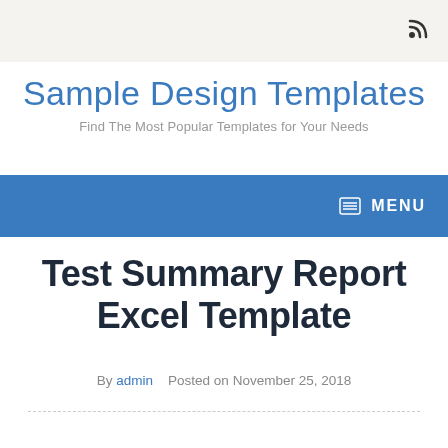RSS icon / feed icon in top-right corner
Sample Design Templates
Find The Most Popular Templates for Your Needs
MENU
Test Summary Report Excel Template
By admin   Posted on November 25, 2018